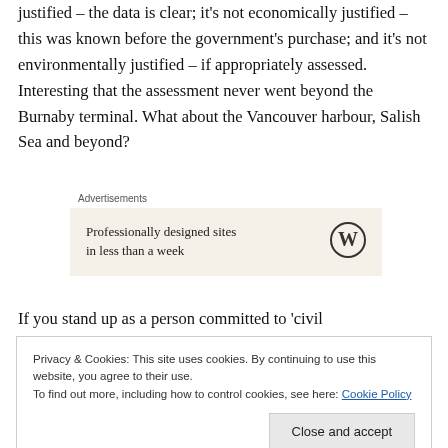justified – the data is clear; it's not economically justified – this was known before the government's purchase; and it's not environmentally justified – if appropriately assessed. Interesting that the assessment never went beyond the Burnaby terminal. What about the Vancouver harbour, Salish Sea and beyond?
Advertisements
[Figure (other): WordPress advertisement banner with text 'Professionally designed sites in less than a week' and WordPress logo]
If you stand up as a person committed to 'civil
Privacy & Cookies: This site uses cookies. By continuing to use this website, you agree to their use.
To find out more, including how to control cookies, see here: Cookie Policy
[Close and accept button]